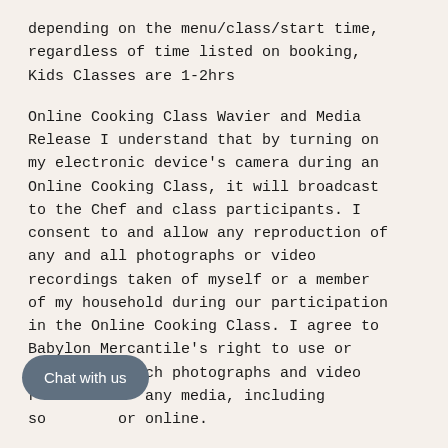depending on the menu/class/start time, regardless of time listed on booking, Kids Classes are 1-2hrs
Online Cooking Class Wavier and Media Release I understand that by turning on my electronic device's camera during an Online Cooking Class, it will broadcast to the Chef and class participants. I consent to and allow any reproduction of any and all photographs or video recordings taken of myself or a member of my household during our participation in the Online Cooking Class. I agree to Babylon Mercantile's right to use or re[...]ch photographs and video r[...] any media, including so[...] or online.
[Figure (other): Chat with us button overlay in bottom-left area of the page]